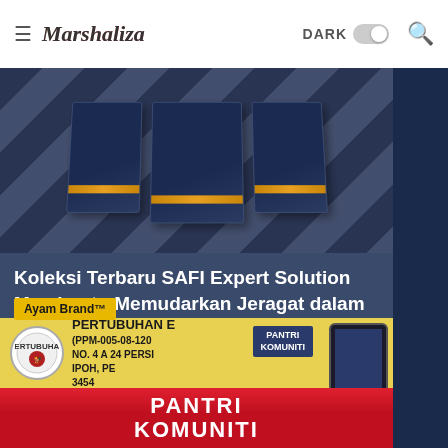Marshaliza — DARK [toggle] [search] [menu]
[Figure (photo): Product boxes with dark navy packaging and gold stripe bands, photographed on a light surface]
Koleksi Terbaru SAFI Expert Solution Membantu Memudarkan Jeragat dalam 2 Minggu
3/16/2019 11:14:00 PM
Ayam Brand™
[Figure (photo): Pantri Komuniti promotional image showing organization banners, Ayam Brand products, and a phone, with bold red and yellow branding reading PANTRI KOMUNITI]